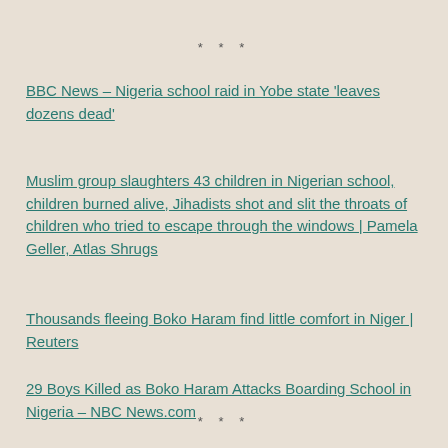* * *
BBC News – Nigeria school raid in Yobe state 'leaves dozens dead'
Muslim group slaughters 43 children in Nigerian school, children burned alive, Jihadists shot and slit the throats of children who tried to escape through the windows | Pamela Geller, Atlas Shrugs
Thousands fleeing Boko Haram find little comfort in Niger | Reuters
29 Boys Killed as Boko Haram Attacks Boarding School in Nigeria – NBC News.com
* * *